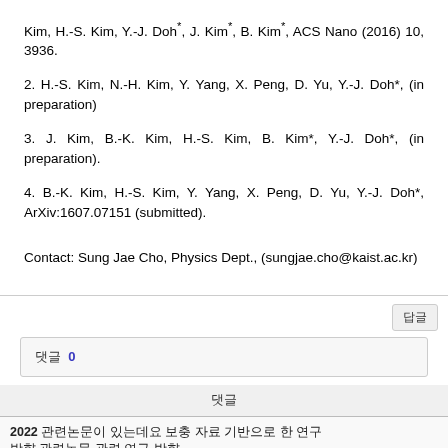Kim, H.-S. Kim, Y.-J. Doh*, J. Kim*, B. Kim*, ACS Nano (2016) 10, 3936.
2. H.-S. Kim, N.-H. Kim, Y. Yang, X. Peng, D. Yu, Y.-J. Doh*, (in preparation)
3. J. Kim, B.-K. Kim, H.-S. Kim, B. Kim*, Y.-J. Doh*, (in preparation).
4. B.-K. Kim, H.-S. Kim, Y. Yang, X. Peng, D. Yu, Y.-J. Doh*, ArXiv:1607.07151 (submitted).
Contact: Sung Jae Cho, Physics Dept., (sungjae.cho@kaist.ac.kr)
| 댓글 |
| --- |
| 2022 관련논문이 있는데요 보충 자료 기반으로 한 연구 방향 |
New paradigms